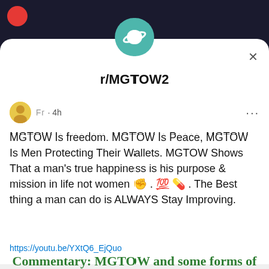r/MGTOW2
Fr · 4h
MGTOW Is freedom. MGTOW Is Peace, MGTOW Is Men Protecting Their Wallets. MGTOW Shows That a man's true happiness is his purpose & mission in life not women ✊ . 💯 💊 . The Best thing a man can do is ALWAYS Stay Improving.
https://youtu.be/YXtQ6_EjQuo
Commentary: MGTOW and some forms of modern feminism are equally abusive